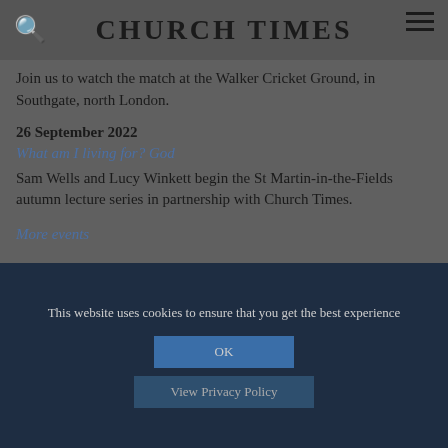CHURCH TIMES
Join us to watch the match at the Walker Cricket Ground, in Southgate, north London.
26 September 2022
What am I living for? God
Sam Wells and Lucy Winkett begin the St Martin-in-the-Fields autumn lecture series in partnership with Church Times.
More events
This website uses cookies to ensure that you get the best experience
OK
View Privacy Policy